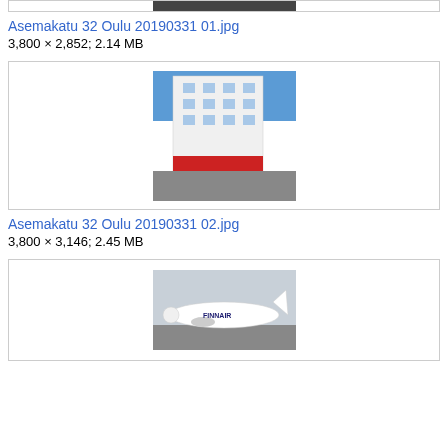[Figure (photo): Top partial image of a building, cropped at top of page]
Asemakatu 32 Oulu 20190331 01.jpg
3,800 × 2,852; 2.14 MB
[Figure (photo): Photo of a white multi-story building with red ground floor signage, construction scaffolding visible, blue sky]
Asemakatu 32 Oulu 20190331 02.jpg
3,800 × 3,146; 2.45 MB
[Figure (photo): Photo of a Finnair airplane on the tarmac, overcast sky]